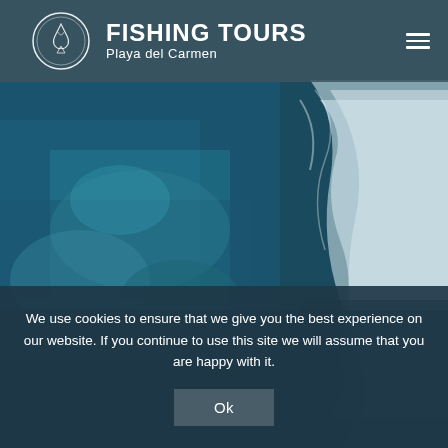[Figure (photo): Aerial view of ocean water with waves and foam, blue-teal tones, used as full page background]
FISHING TOURS Playa del Carmen
We use cookies to ensure that we give you the best experience on our website. If you continue to use this site we will assume that you are happy with it.
Ok